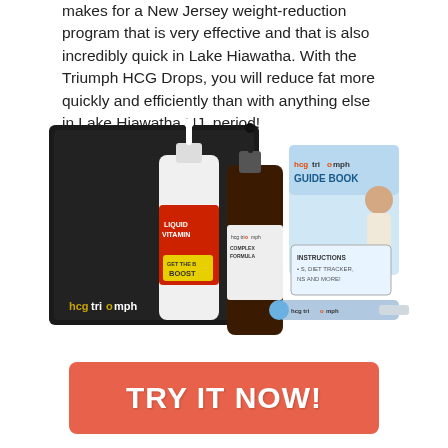makes for a New Jersey weight-reduction program that is very effective and that is also incredibly quick in Lake Hiawatha. With the Triumph HCG Drops, you will reduce fat more quickly and efficiently than with anything else in Lake Hiawatha NJ, period!
[Figure (photo): HCG Triumph product kit including two dropper bottles (Liquid Vitamins with B Boost, and HCG Triumph Complex Formula), an HCG Triumph Guide Book, a blue syringe/dropper accessory, all displayed in front of a black branded box.]
TRY IT NOW!
The Lake Hiawatha secret behind these Triumph hcg drops is